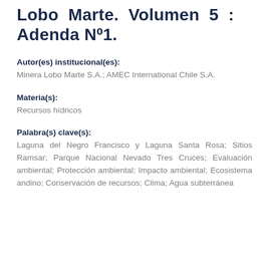Lobo Marte. Volumen 5 : Adenda Nº1.
Autor(es) institucional(es):
Minera Lobo Marte S.A.; AMEC International Chile S.A.
Materia(s):
Recursos hídricos
Palabra(s) clave(s):
Laguna del Negro Francisco y Laguna Santa Rosa; Sitios Ramsar; Parque Nacional Nevado Tres Cruces; Evaluación ambiental; Protección ambiental; Impacto ambiental; Ecosistema andino; Conservación de recursos; Clima; Agua subterránea